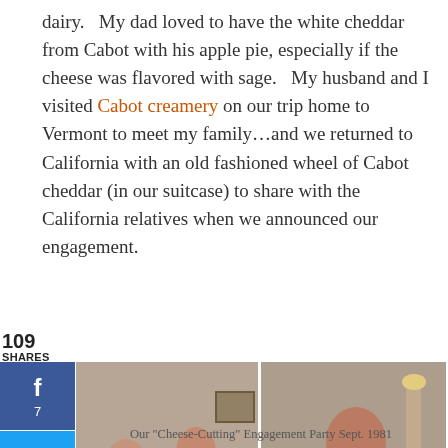dairy.  My dad loved to have the white cheddar from Cabot with his apple pie, especially if the cheese was flavored with sage.   My husband and I visited Cabot creamery on our trip home to Vermont to meet my family…and we returned to California with an old fashioned wheel of Cabot cheddar (in our suitcase) to share with the California relatives when we announced our engagement.
109 SHARES
[Figure (photo): Two vintage photos side by side showing people at what appears to be an engagement party, 1981]
Privacy & Cookies: This site uses cookies. By continuing to use this website, you agree to their use. To find out more, including how to control cookies, see here: Cookie Policy
Close and accept
Our "Cheese-Cutting" Engagement Party Sept. 1981